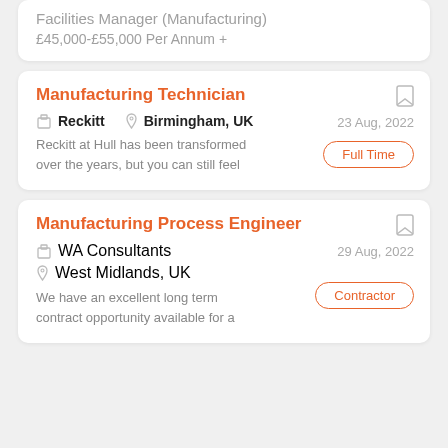Facilities Manager (Manufacturing)
£45,000-£55,000 Per Annum +
Manufacturing Technician
Reckitt
Birmingham, UK
23 Aug, 2022
Full Time
Reckitt at Hull has been transformed over the years, but you can still feel
Manufacturing Process Engineer
WA Consultants
West Midlands, UK
29 Aug, 2022
Contractor
We have an excellent long term contract opportunity available for a